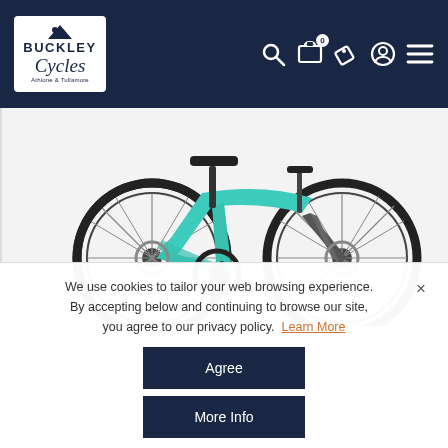Buckley Cycles — navigation header with logo and icons
[Figure (photo): A teal/turquoise women's hybrid/fitness bicycle with disc brakes, photographed on a white background, shown from the side]
We use cookies to tailor your web browsing experience. By accepting below and continuing to browse our site, you agree to our privacy policy. Learn More
Agree
More Info